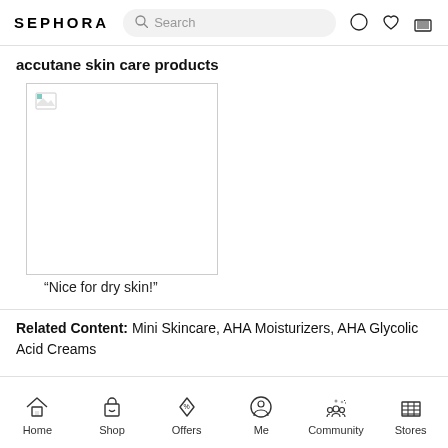SEPHORA
accutane skin care products
[Figure (photo): Product image placeholder (broken image icon, white rectangle with border)]
“Nice for dry skin!”
Related Content: Mini Skincare, AHA Moisturizers, AHA Glycolic Acid Creams
Home | Shop | Offers | Me | Community | Stores